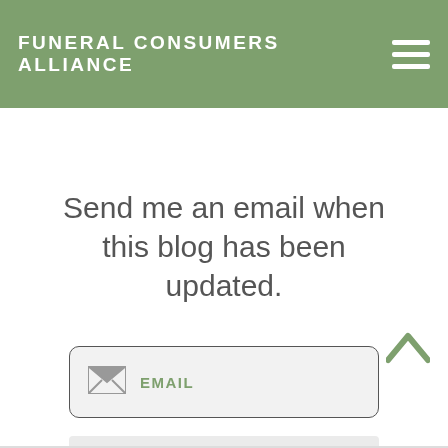FUNERAL CONSUMERS ALLIANCE
Send me an email when this blog has been updated.
EMAIL
SUBSCRIBE